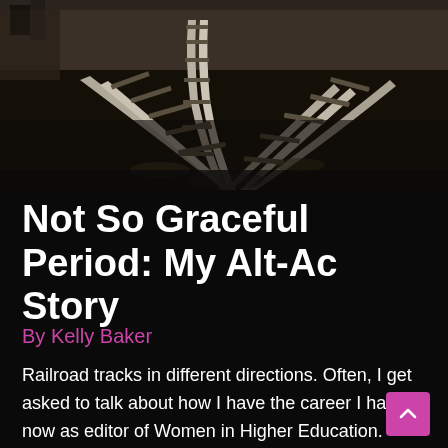[Figure (photo): Black and white / sepia photograph of railroad tracks diverging in multiple directions, viewed from ground level perspective.]
Not So Graceful Period: My Alt-Ac Story
By Kelly Baker
Railroad tracks in different directions. Often, I get asked to talk about how I have the career I have now as editor of Women in Higher Education. Folks often want an easy story of point A (Religious studies PhD) to point B (editor and writer). They expect it to be